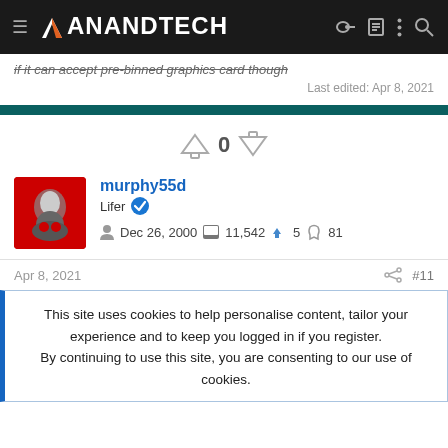AnandTech
if it can accept pre-binned graphics card though
Last edited: Apr 8, 2021
murphy55d
Lifer
Dec 26, 2000  11,542  5  81
Apr 8, 2021  #11
This site uses cookies to help personalise content, tailor your experience and to keep you logged in if you register.
By continuing to use this site, you are consenting to our use of cookies.